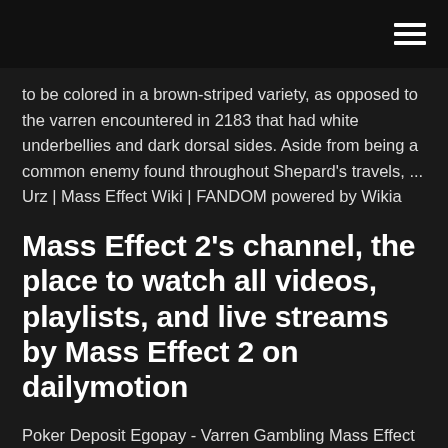to be colored in a brown-striped variety, as opposed to the varren encountered in 2183 that had white underbellies and dark dorsal sides. Aside from being a common enemy found throughout Shepard's travels, ... Urz | Mass Effect Wiki | FANDOM powered by Wikia
Mass Effect 2's channel, the place to watch all videos, playlists, and live streams by Mass Effect 2 on dailymotion
Poker Deposit Egopay - Varren Gambling Mass Effect 2 Poker Deposit Egopay, Catania Slot Italia Slot! In case the bonus cannot be poker 5 kartowy zasady redeemed, don't